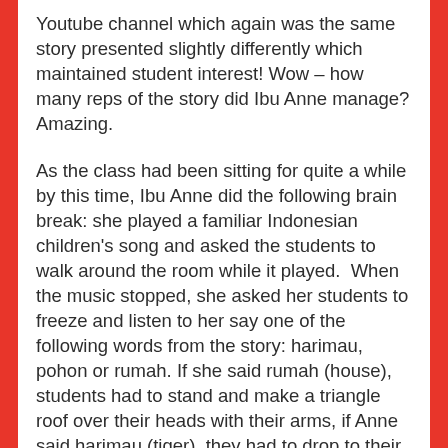Youtube channel which again was the same story presented slightly differently which maintained student interest! Wow – how many reps of the story did Ibu Anne manage? Amazing.
As the class had been sitting for quite a while by this time, Ibu Anne did the following brain break: she played a familiar Indonesian children's song and asked the students to walk around the room while it played. When the music stopped, she asked her students to freeze and listen to her say one of the following words from the story: harimau, pohon or rumah. If she said rumah (house), students had to stand and make a triangle roof over their heads with their arms, if Anne said harimau (tiger), they had to drop to their hands and knees and if she said pohon (tree), they had to stand up tall with their arms out, hanging like branches. I really enjoyed the added bonus of having an Indonesian song incorporated into this brain break